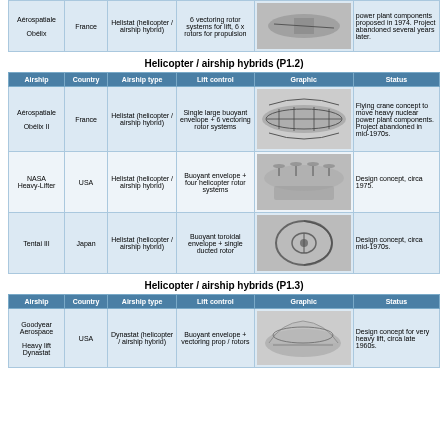| Airship | Country | Airship type | Lift control | Graphic | Status |
| --- | --- | --- | --- | --- | --- |
| Aérospatiale Obélix | France | Helistat (helicopter / airship hybrid) | 6 x vectoring rotor systems for lift, 6 x rotors for propulsion | [image] | Flying crane concept to move heavy nuclear power plant components proposed in 1974. Project abandoned several years later. |
Helicopter / airship hybrids (P1.2)
| Airship | Country | Airship type | Lift control | Graphic | Status |
| --- | --- | --- | --- | --- | --- |
| Aérospatiale Obélix II | France | Helistat (helicopter / airship hybrid) | Single large buoyant envelope + 6 vectoring rotor systems | [image] | Flying crane concept to move heavy nuclear power plant components. Project abandoned in mid-1970s. |
| NASA Heavy-Lifter | USA | Helistat (helicopter / airship hybrid) | Buoyant envelope + four helicopter rotor systems | [image] | Design concept, circa 1975. |
| Tentai III | Japan | Helistat (helicopter / airship hybrid) | Buoyant toroidal envelope + single ducted rotor | [image] | Design concept, circa mid-1970s. |
Helicopter / airship hybrids (P1.3)
| Airship | Country | Airship type | Lift control | Graphic | Status |
| --- | --- | --- | --- | --- | --- |
| Goodyear Aerospace Heavy lift Dynastat | USA | Dynastat (helicopter / airship hybrid) | Buoyant envelope + vectoring prop / rotors | [image] | Design concept for very heavy lift, circa late 1960s. |